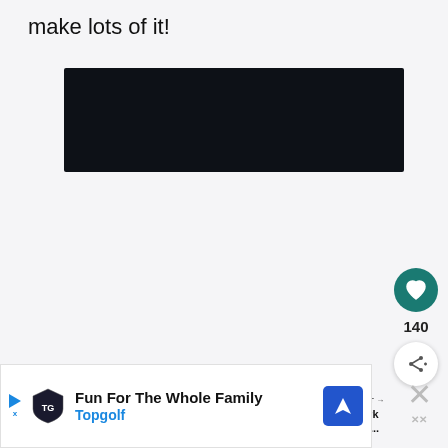make lots of it!
[Figure (other): Dark/black video player embed area]
[Figure (other): Heart (like) button circle, teal colored, with heart icon]
140
[Figure (other): Share button circle, white with shadow, showing share icon with plus]
WHAT'S NEXT → Pulled Pork Enchilada...
[Figure (other): Advertisement banner: Fun For The Whole Family - Topgolf, with logo and map icon]
[Figure (other): Close/dismiss X button for advertisement]